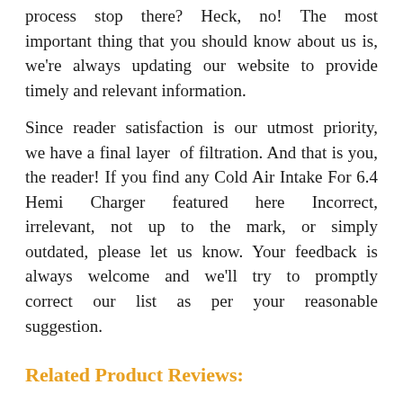process stop there? Heck, no! The most important thing that you should know about us is, we're always updating our website to provide timely and relevant information.
Since reader satisfaction is our utmost priority, we have a final layer of filtration. And that is you, the reader! If you find any Cold Air Intake For 6.4 Hemi Charger featured here Incorrect, irrelevant, not up to the mark, or simply outdated, please let us know. Your feedback is always welcome and we'll try to promptly correct our list as per your reasonable suggestion.
Related Product Reviews: